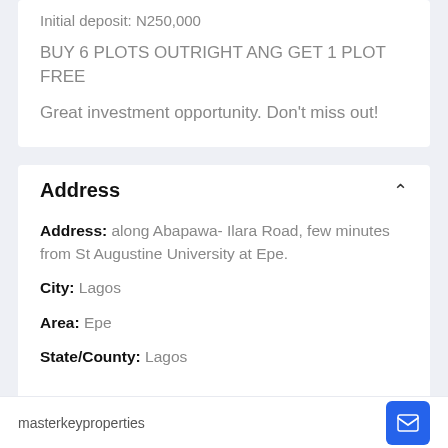Initial deposit: N250,000
BUY 6 PLOTS OUTRIGHT ANG GET 1 PLOT FREE
Great investment opportunity. Don't miss out!
Address
Address: along Abapawa- Ilara Road, few minutes from St Augustine University at Epe.
City: Lagos
Area: Epe
State/County: Lagos
masterkeyproperties